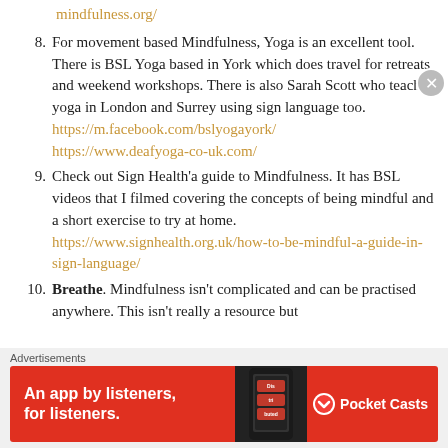mindfulness.org/
8. For movement based Mindfulness, Yoga is an excellent tool. There is BSL Yoga based in York which does travel for retreats and weekend workshops. There is also Sarah Scott who teaches yoga in London and Surrey using sign language too. https://m.facebook.com/bslyogayork/ https://www.deafyoga-co-uk.com/
9. Check out Sign Health'a guide to Mindfulness. It has BSL videos that I filmed covering the concepts of being mindful and a short exercise to try at home. https://www.signhealth.org.uk/how-to-be-mindful-a-guide-in-sign-language/
10. Breathe. Mindfulness isn't complicated and can be practised anywhere. This isn't really a resource but
[Figure (other): Advertisement banner: Pocket Casts app ad on red background reading 'An app by listeners, for listeners.' with phone graphic showing 'Distributed' app icon]